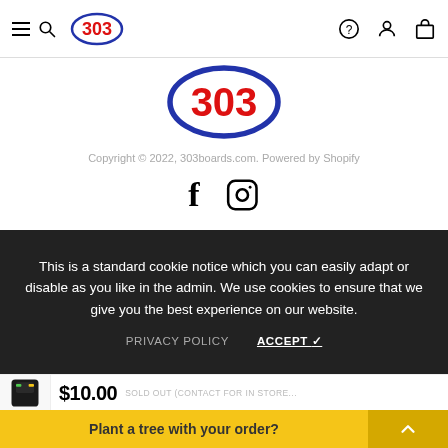[Figure (screenshot): Navigation bar with hamburger/search icon, 303 oval logo (red text, blue oval border), and right-side icons (question mark, user, shopping bag)]
[Figure (logo): 303 oval logo — large centered version, red bold '303' inside blue oval outline]
Copyright © 2022, 303boards.com. Powered by Shopify
[Figure (illustration): Social media icons: Facebook 'f' and Instagram camera outline]
This is a standard cookie notice which you can easily adapt or disable as you like in the admin. We use cookies to ensure that we give you the best experience on our website.
PRIVACY POLICY   ACCEPT ✓
[Figure (screenshot): Bottom product bar showing socks thumbnail, $10.00 price, SOLD OUT (CONTACT FOR IN STORE...) text, and 'Plant a tree with your order?' yellow banner with white chevron]
Plant a tree with your order?